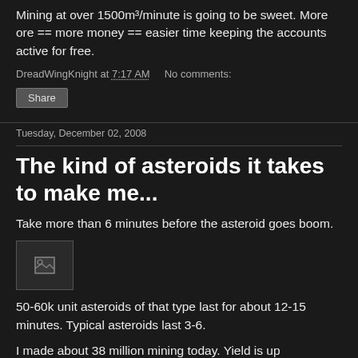Mining at over 1500m³/minute is going to be sweet. More ore == more money == easier time keeping the accounts active for free.
DreadWingKnight at 7:17 AM   No comments:
Share
Tuesday, December 02, 2008
The kind of asteroids it takes to make me...
Take more than 6 minutes before the asteroid goes boom.
[Figure (photo): Broken image placeholder]
50-60k unit asteroids of that type last for about 12-15 minutes. Typical asteroids last 3-6.
I made about 38 million mining today. Yield is up somewhere